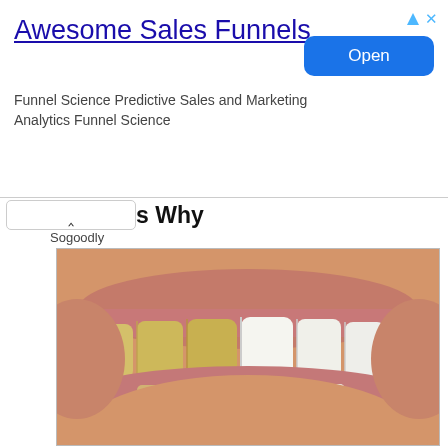[Figure (screenshot): Advertisement banner for 'Awesome Sales Funnels' with title, description text, and an Open button. Shows ad icons (triangle and X) in top right corner.]
s Why
Sogoodly
[Figure (photo): Close-up photo of a human smile showing teeth. The left half of the teeth are yellowish/stained while the right half are bright white, illustrating a teeth whitening before/after comparison.]